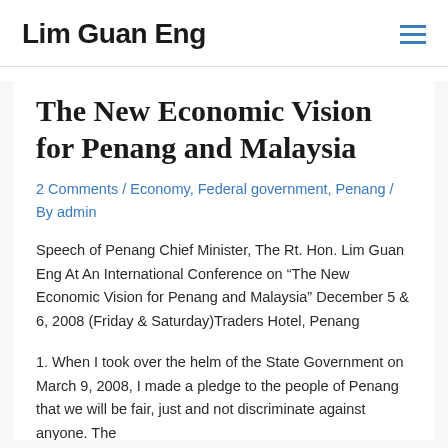Lim Guan Eng
The New Economic Vision for Penang and Malaysia
2 Comments / Economy, Federal government, Penang / By admin
Speech of Penang Chief Minister, The Rt. Hon. Lim Guan Eng At An International Conference on “The New Economic Vision for Penang and Malaysia” December 5 & 6, 2008 (Friday & Saturday)Traders Hotel, Penang
1. When I took over the helm of the State Government on March 9, 2008, I made a pledge to the people of Penang that we will be fair, just and not discriminate against anyone. The